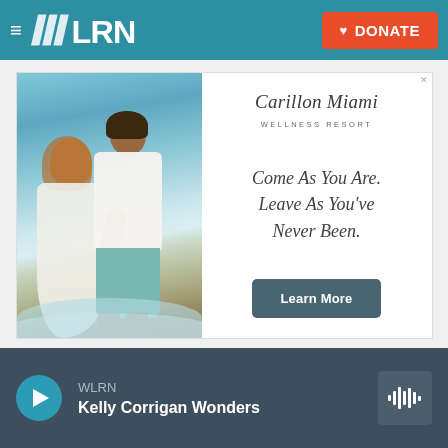WLRN — DONATE
[Figure (photo): Advertisement for Carillon Miami Wellness Resort showing a couple standing on a beach. Right side has the Carillon Miami Wellness Resort logo, tagline 'Come As You Are. Leave As You've Never Been.' and a 'Learn More' button.]
WLRN
Kelly Corrigan Wonders